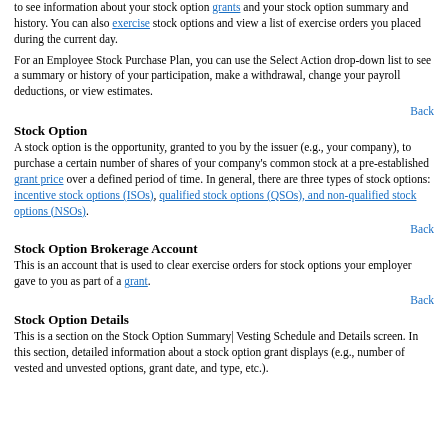to see information about your stock option grants and your stock option summary and history. You can also exercise stock options and view a list of exercise orders you placed during the current day.
For an Employee Stock Purchase Plan, you can use the Select Action drop-down list to see a summary or history of your participation, make a withdrawal, change your payroll deductions, or view estimates.
Back
Stock Option
A stock option is the opportunity, granted to you by the issuer (e.g., your company), to purchase a certain number of shares of your company's common stock at a pre-established grant price over a defined period of time. In general, there are three types of stock options: incentive stock options (ISOs), qualified stock options (QSOs), and non-qualified stock options (NSOs).
Back
Stock Option Brokerage Account
This is an account that is used to clear exercise orders for stock options your employer gave to you as part of a grant.
Back
Stock Option Details
This is a section on the Stock Option Summary| Vesting Schedule and Details screen. In this section, detailed information about a stock option grant displays (e.g., number of vested and unvested options, grant date, and type, etc.).